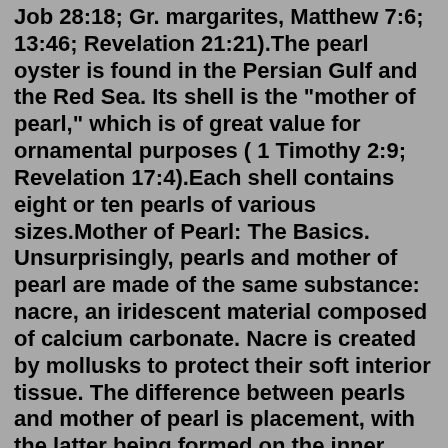Job 28:18; Gr. margarites, Matthew 7:6; 13:46; Revelation 21:21).The pearl oyster is found in the Persian Gulf and the Red Sea. Its shell is the "mother of pearl," which is of great value for ornamental purposes ( 1 Timothy 2:9; Revelation 17:4).Each shell contains eight or ten pearls of various sizes.Mother of Pearl: The Basics. Unsurprisingly, pearls and mother of pearl are made of the same substance: nacre, an iridescent material composed of calcium carbonate. Nacre is created by mollusks to protect their soft interior tissue. The difference between pearls and mother of pearl is placement, with the latter being formed on the inner linings ...Nov 08, 2021 · They are cultivated in Pinctada maxima oysters, the largest of the species, in Burma, Indonesia, Australia and the Philippines. Low quality South Sea pearls can fetch up to $200, and average quality pearls may be worth between $250 and $450. The finest quality pearls can fetch between $1,200 and $35,000 or more for exceptional specimens. Feb 19, 2020 · Condition, size,